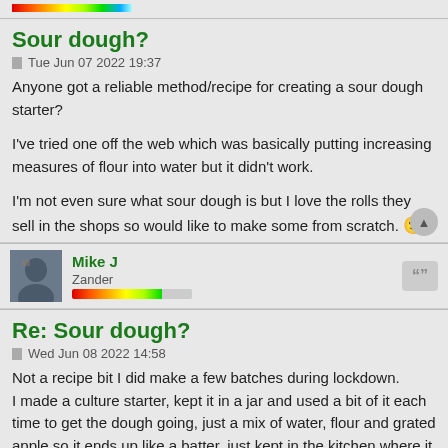Sour dough?
Tue Jun 07 2022 19:37
Anyone got a reliable method/recipe for creating a sour dough starter?
I've tried one off the web which was basically putting increasing measures of flour into water but it didn't work.
I'm not even sure what sour dough is but I love the rolls they sell in the shops so would like to make some from scratch. 🙂
Mike J
Zander
Re: Sour dough?
Wed Jun 08 2022 14:58
Not a recipe bit I did make a few batches during lockdown.
I made a culture starter, kept it in a jar and used a bit of it each time to get the dough going, just a mix of water, flour and grated apple so it ends up like a batter, just kept in the kitchen where it collected yeast from the air. It slowly bubbles up and smells a bit sweet. From memory once it starts growing you feed it with flour and can use it after a week or so. Best cross check to confirm ingredients incase. Beware because it keeps on growing